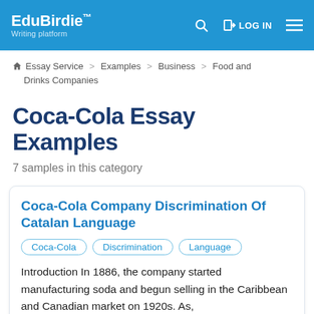EduBirdie™ Writing platform | LOG IN
Essay Service > Examples > Business > Food and Drinks Companies
Coca-Cola Essay Examples
7 samples in this category
Coca-Cola Company Discrimination Of Catalan Language
Coca-Cola   Discrimination   Language
Introduction In 1886, the company started manufacturing soda and begun selling in the Caribbean and Canadian market on 1920s. As,